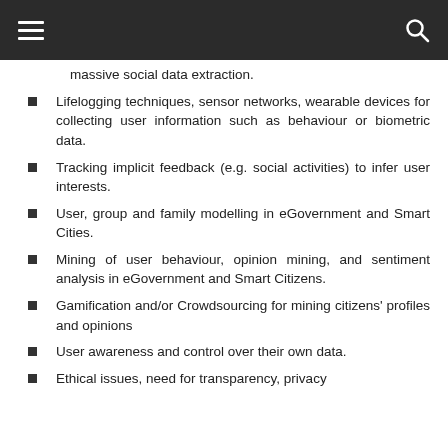massive social data extraction.
Lifelogging techniques, sensor networks, wearable devices for collecting user information such as behaviour or biometric data.
Tracking implicit feedback (e.g. social activities) to infer user interests.
User, group and family modelling in eGovernment and Smart Cities.
Mining of user behaviour, opinion mining, and sentiment analysis in eGovernment and Smart Citizens.
Gamification and/or Crowdsourcing for mining citizens' profiles and opinions
User awareness and control over their own data.
Ethical issues, need for transparency, privacy